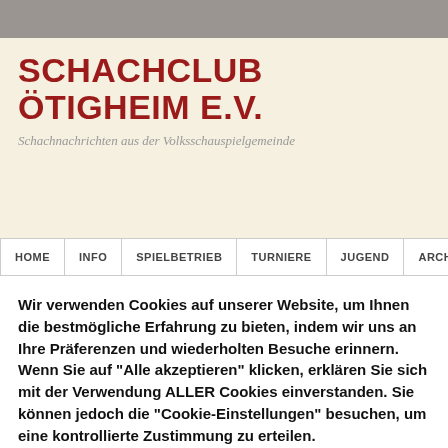SCHACHCLUB ÖTIGHEIM E.V.
Schachnachrichten aus der Volksschauspielgemeinde
HOME | INFO | SPIELBETRIEB | TURNIERE | JUGEND | ARCHI
Wir verwenden Cookies auf unserer Website, um Ihnen die bestmögliche Erfahrung zu bieten, indem wir uns an Ihre Präferenzen und wiederholten Besuche erinnern. Wenn Sie auf "Alle akzeptieren" klicken, erklären Sie sich mit der Verwendung ALLER Cookies einverstanden. Sie können jedoch die "Cookie-Einstellungen" besuchen, um eine kontrollierte Zustimmung zu erteilen.
Cookie Settings
Accept All